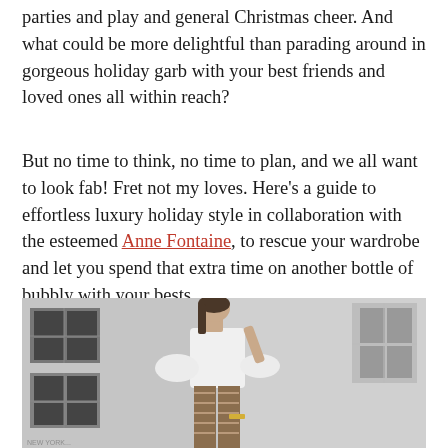parties and play and general Christmas cheer. And what could be more delightful than parading around in gorgeous holiday garb with your best friends and loved ones all within reach?
But no time to think, no time to plan, and we all want to look fab! Fret not my loves. Here's a guide to effortless luxury holiday style in collaboration with the esteemed Anne Fontaine, to rescue your wardrobe and let you spend that extra time on another bottle of bubbly with your bests.
[Figure (photo): Black and white photograph of a woman wearing a white ruffled blouse and patterned trousers, standing in front of a building with industrial windows, holding something small in her raised right hand.]